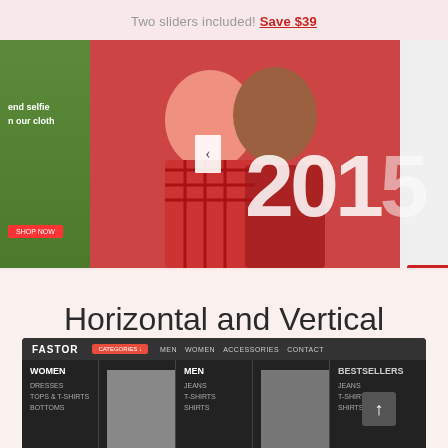Two sliders included! Save $39
[Figure (screenshot): Website slider/carousel showing a couple in plaid with 'Summer Collection 2015' text and navigation arrows, with side peeks of adjacent slides]
Horizontal and Vertical MegaMenu
You can build menu you really need!
[Figure (screenshot): Preview screenshot of the Fastor theme showing a dark navigation bar with logo, menu categories (Women, Men, Accessories, Contact), and product category columns below]